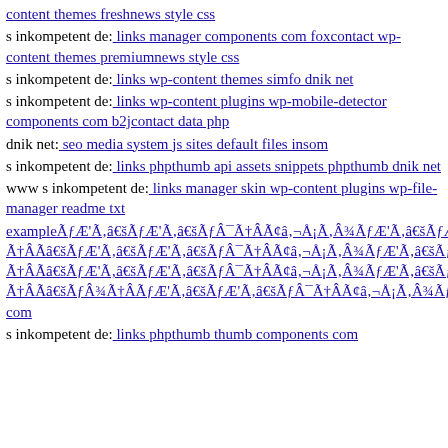content themes freshnews style css
s inkompetent de: links manager components com foxcontact wp-content themes premiumnews style css
s inkompetent de: links wp-content themes simfo dnik net
s inkompetent de: links wp-content plugins wp-mobile-detector components com b2jcontact data php
dnik net: seo media system js sites default files insom
s inkompetent de: links phpthumb api assets snippets phpthumb dnik net
www s inkompetent de: links manager skin wp-content plugins wp-file-manager readme txt
exampleÃƒÆÃâ€šÃƒâ€šÃƒÂ¯ÃƒÆÃ¢â‚¬Å¡Ãƒâ€šÃƒÂ¾ÃƒÆÃâ€šÃƒâ€šÃƒÂ¯ÃƒÆÃ¢â‚¬Å¡Ãƒâ€šÃƒÂ¿ÃƒÆÃâ€šÃƒâ€šÃƒÂ¯ÃƒÆÃ¢â‚¬Å¡Ãƒâ€šÃƒÂ¾ÃƒÆÃâ€šÃƒâ€šÃƒÂ¯ÃƒÆÃ¢â‚¬Å¡Ãƒâ€šÃƒ ÃƒâK com
s inkompetent de: links phpthumb thumb components com